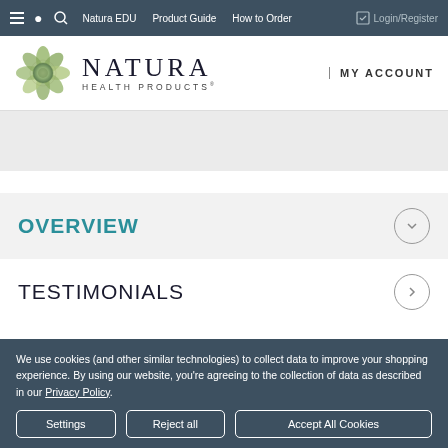Natura EDU  Product Guide  How to Order  Login/Register
[Figure (logo): Natura Health Products logo with decorative flower/mandala graphic and text NATURA HEALTH PRODUCTS]
MY ACCOUNT
[Figure (other): Banner/advertisement area (light gray placeholder)]
OVERVIEW
TESTIMONIALS
We use cookies (and other similar technologies) to collect data to improve your shopping experience. By using our website, you're agreeing to the collection of data as described in our Privacy Policy.
Settings  Reject all  Accept All Cookies